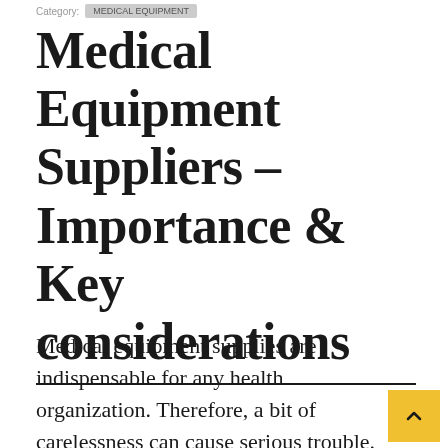Category: MEDICAL EQUIPMENT
Medical Equipment Suppliers – Importance & Key considerations
Medical equipment supplies are indispensable for any health organization. Therefore, a bit of carelessness can cause serious trouble. Therefore, giving importance to the local medical equipment suppliers in UAE is